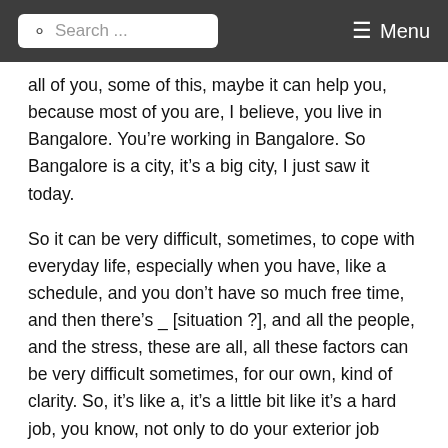Search ... Menu
all of you, some of this, maybe it can help you, because most of you are, I believe, you live in Bangalore. You’re working in Bangalore. So Bangalore is a city, it’s a big city, I just saw it today.
So it can be very difficult, sometimes, to cope with everyday life, especially when you have, like a schedule, and you don’t have so much free time, and then there’s _ [situation ?], and all the people, and the stress, these are all, all these factors can be very difficult sometimes, for our own, kind of clarity. So, it’s like a, it’s a little bit like it’s a hard job, you know, not only to do your exterior job everyday, to earn your money, to live, but also the interior job. It’s more difficult, because normally, for example, when